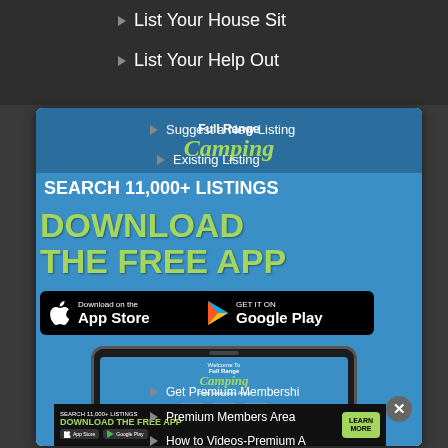▶ List Your House Sit
▶ List Your Help Out
[Figure (screenshot): Full Range Camping app promotion popup showing logo, 'SEARCH 11,000+ LISTINGS', 'DOWNLOAD THE FREE APP' in green bold text, App Store and Google Play download buttons, and a tablet screenshot showing the app interface with icons for Maps & Information, Free Online Maps, Online Shopping. Overlapping navigation text visible: Suggest a New Listing, Existing Listing, Get Premium Membership, Premium Members Area, How to Videos-Premium A...]
▶ Suggest a New Listing
▶ Existing Listing
▶ Get Premium Membership
▶ Premium Members Area
▶ How to Videos-Premium A...